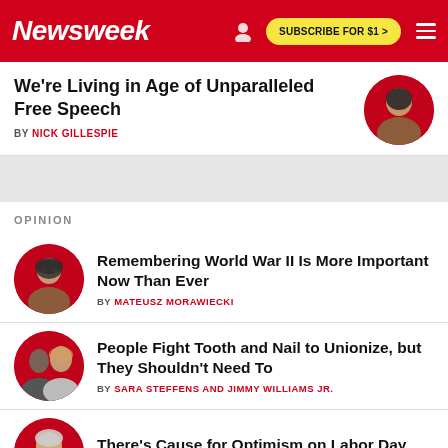Newsweek — SUBSCRIBE FOR $1 >
We're Living in Age of Unparalleled Free Speech
BY NICK GILLESPIE
OPINION
Remembering World War II Is More Important Now Than Ever
BY MATEUSZ MORAWIECKI
People Fight Tooth and Nail to Unionize, but They Shouldn't Need To
BY SARA STEFFENS AND JIMMY WILLIAMS JR.
There's Cause for Optimism on Labor Day
BY LEE SAUNDERS